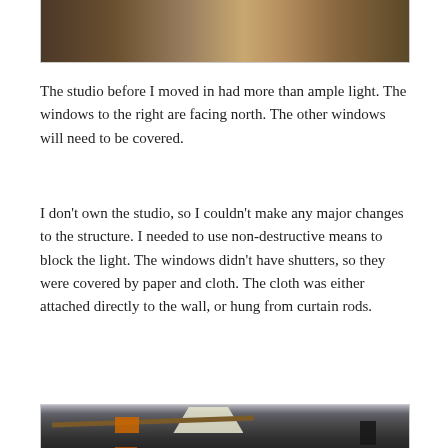[Figure (photo): Top portion of a studio interior photo showing boxes and clutter with windows visible, cut off at top]
The studio before I moved in had more than ample light. The windows to the right are facing north. The other windows will need to be covered.
I don't own the studio, so I couldn't make any major changes to the structure. I needed to use non-destructive means to block the light. The windows didn't have shutters, so they were covered by paper and cloth. The cloth was either attached directly to the wall, or hung from curtain rods.
[Figure (photo): Interior of a studio/barn space showing a high vaulted ceiling with a skylight letting in bright light, wooden beams, studio lights mounted on a beam, orange-lit panels/windows visible, and dark curtains covering windows]